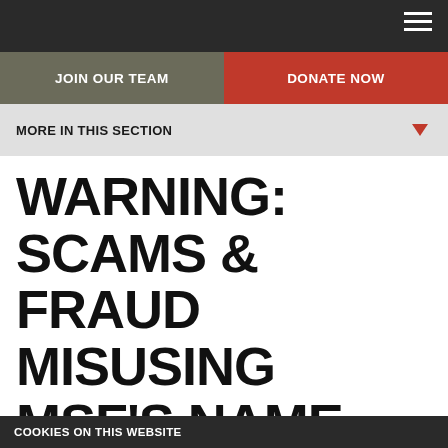JOIN OUR TEAM | DONATE NOW
MORE IN THIS SECTION
WARNING: SCAMS & FRAUD MISUSING MSF'S NAME
Please be aware there have been cases of individuals posing as Médecins Sans Frontières/Doctors
COOKIES ON THIS WEBSITE